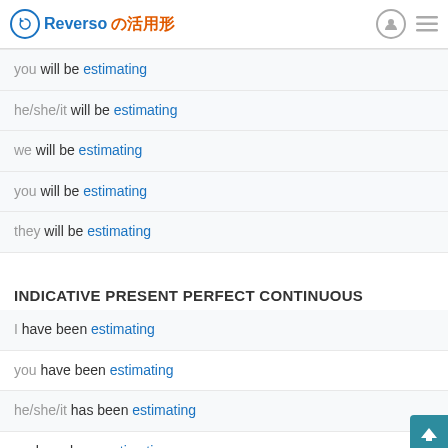Reverso の活用形
you will be estimating
he/she/it will be estimating
we will be estimating
you will be estimating
they will be estimating
INDICATIVE PRESENT PERFECT CONTINUOUS
I have been estimating
you have been estimating
he/she/it has been estimating
we have been estimating